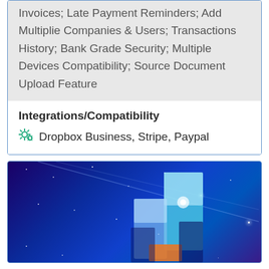Invoices; Late Payment Reminders; Add Multiplie Companies & Users; Transactions History; Bank Grade Security; Multiple Devices Compatibility; Source Document Upload Feature
Integrations/Compatibility
Dropbox Business, Stripe, Paypal
[Figure (photo): Blue space-themed image with geometric block shapes in cyan/white/orange against a starry dark blue background with diagonal light beams]